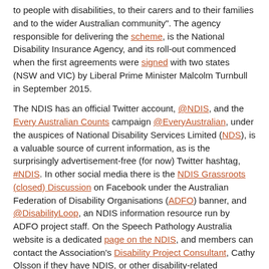to people with disabilities, to their carers and to their families and to the wider Australian community". The agency responsible for delivering the scheme, is the National Disability Insurance Agency, and its roll-out commenced when the first agreements were signed with two states (NSW and VIC) by Liberal Prime Minister Malcolm Turnbull in September 2015.
The NDIS has an official Twitter account, @NDIS, and the Every Australian Counts campaign @EveryAustralian, under the auspices of National Disability Services Limited (NDS), is a valuable source of current information, as is the surprisingly advertisement-free (for now) Twitter hashtag, #NDIS. In other social media there is the NDIS Grassroots (closed) Discussion on Facebook under the Australian Federation of Disability Organisations (ADFO) banner, and @DisabilityLoop, an NDIS information resource run by ADFO project staff. On the Speech Pathology Australia website is a dedicated page on the NDIS, and members can contact the Association's Disability Project Consultant, Cathy Olsson if they have NDIS, or other disability-related questions to ask or issues to raise.
Elsewhere on the web is @_Clickability, an Australian disability service directory which features ratings and reviews from the people who use the services, and @MyDisabilityMatters (MDM). The MDM website provides a news and article curation and republishing service to alert readers to stories published in the mainstream and disability media and disability